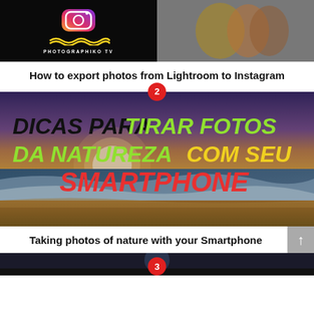[Figure (photo): Two-panel thumbnail: left panel shows black background with Instagram-style colored logo icon, yellow wavy lines, and text 'PHOTOGRAPHIKO TV'; right panel shows a close-up photo of children or figures with colorful clothing.]
How to export photos from Lightroom to Instagram
[Figure (photo): Thumbnail image with number badge '2'. Beach/nature sunset photo overlaid with bold stylized text: 'DICAS PARA TIRAR FOTOS DA NATUREZA COM SEU SMARTPHONE' in black, green, yellow, and red colors.]
Taking photos of nature with your Smartphone
[Figure (photo): Partially visible thumbnail with number badge '3' at the bottom of the page, showing a dark scene.]